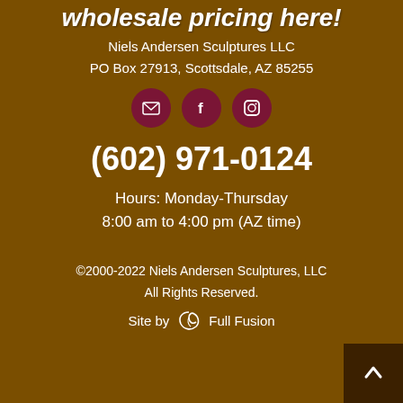wholesale pricing here!
Niels Andersen Sculptures LLC
PO Box 27913, Scottsdale, AZ 85255
[Figure (illustration): Three dark red circular social media icons: email/envelope, Facebook, Instagram]
(602) 971-0124
Hours: Monday-Thursday
8:00 am to 4:00 pm (AZ time)
©2000-2022 Niels Andersen Sculptures, LLC
All Rights Reserved.
Site by  Full Fusion